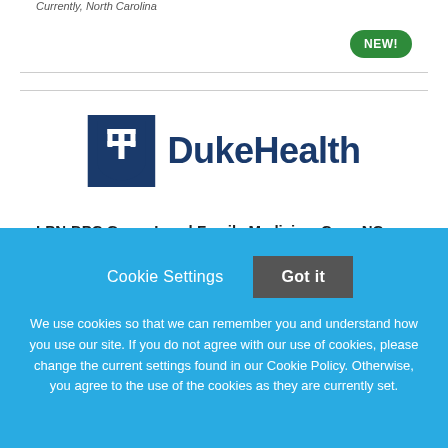Currently, North Carolina
[Figure (logo): DukeHealth logo: dark blue shield icon with white trident/pitchfork symbol, followed by 'DukeHealth' text in dark navy bold font]
LPN-DPC Green Level Family Medicine, Cary, NC
Duke University Health System
Cookie Settings  Got it

We use cookies so that we can remember you and understand how you use our site. If you do not agree with our use of cookies, please change the current settings found in our Cookie Policy. Otherwise, you agree to the use of the cookies as they are currently set.